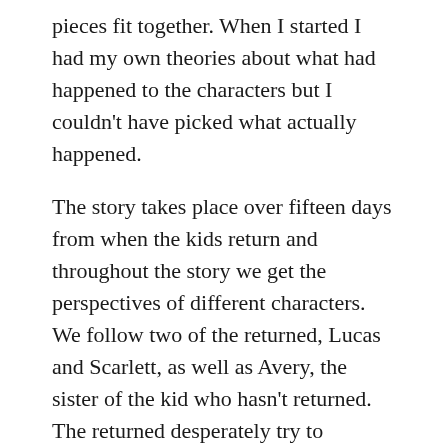pieces fit together.  When I started I had my own theories about what had happened to the characters but I couldn't have picked what actually happened.
The story takes place over fifteen days from when the kids return and throughout the story we get the perspectives of different characters. We follow two of the returned, Lucas and Scarlett, as well as Avery, the sister of the kid who hasn't returned.  The returned desperately try to remember what happened to them, while their families adjust to having them back again (or wondering why they haven't returned, like Avery and her mum).
I think this is one of the best YA books this year and I highly recommend it.  It's a great read for those Year 7/8 readers who want to be reading YA too.  Grab a copy of